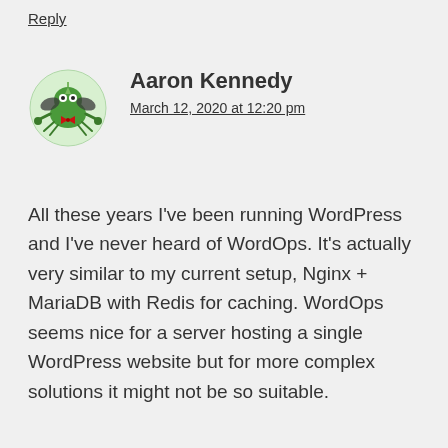Reply
[Figure (illustration): Cartoon avatar of a green crab-like creature with wings and a red bow tie, on a light green circular background]
Aaron Kennedy
March 12, 2020 at 12:20 pm
All these years I've been running WordPress and I've never heard of WordOps. It's actually very similar to my current setup, Nginx + MariaDB with Redis for caching. WordOps seems nice for a server hosting a single WordPress website but for more complex solutions it might not be so suitable.